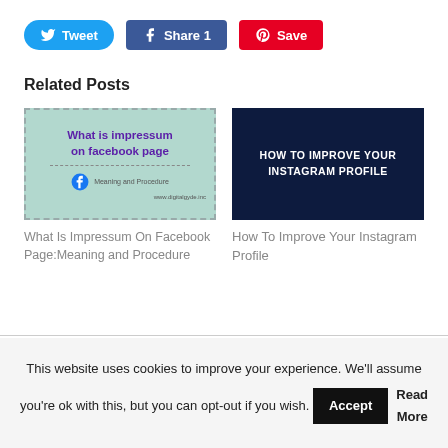[Figure (other): Social share buttons: Tweet (blue), Share 1 (Facebook blue), Save (Pinterest red)]
Related Posts
[Figure (illustration): Thumbnail image: 'What is impressum on facebook page' with dashed border, green-teal background, purple bold text, Facebook icon, subtitle 'Meaning and Procedure']
What Is Impressum On Facebook Page:Meaning and Procedure
[Figure (illustration): Thumbnail image: 'HOW TO IMPROVE YOUR INSTAGRAM PROFILE' dark navy background with blueprint-style icons]
How To Improve Your Instagram Profile
This website uses cookies to improve your experience. We'll assume you're ok with this, but you can opt-out if you wish.
Accept   Read More